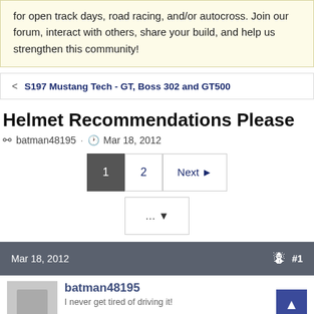for open track days, road racing, and/or autocross. Join our forum, interact with others, share your build, and help us strengthen this community!
< S197 Mustang Tech - GT, Boss 302 and GT500
Helmet Recommendations Please
batman48195 · Mar 18, 2012
1  2  Next ▶  ... ▼
Mar 18, 2012  #1
batman48195
I never get tired of driving it!